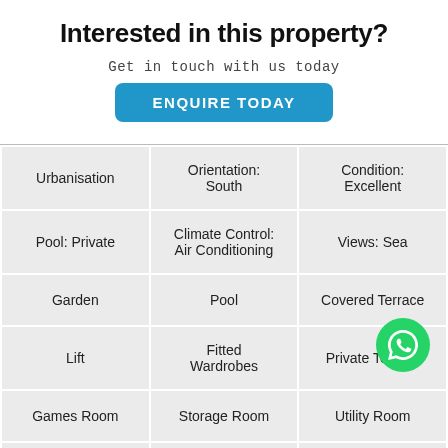Interested in this property?
Get in touch with us today
ENQUIRE TODAY
| Urbanisation | Orientation: South | Condition: Excellent |
| Pool: Private | Climate Control: Air Conditioning | Views: Sea |
| Garden | Pool | Covered Terrace |
| Lift | Fitted Wardrobes | Private Terrace |
| Games Room | Storage Room | Utility Room |
|  |  |  |
[Figure (logo): WhatsApp logo green circle button overlay]